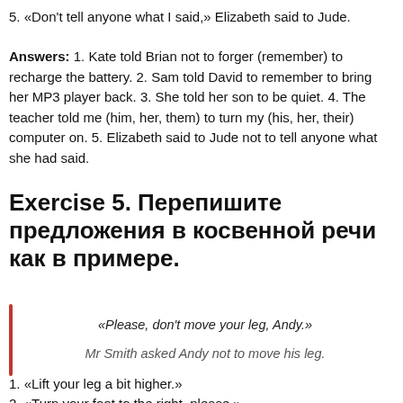5. «Don't tell anyone what I said,» Elizabeth said to Jude.
Answers: 1. Kate told Brian not to forger (remember) to recharge the battery. 2. Sam told David to remember to bring her MP3 player back. 3. She told her son to be quiet. 4. The teacher told me (him, her, them) to turn my (his, her, their) computer on. 5. Elizabeth said to Jude not to tell anyone what she had said.
Exercise 5. Перепишите предложения в косвенной речи как в примере.
«Please, don't move your leg, Andy.»
Mr Smith asked Andy not to move his leg.
1. «Lift your leg a bit higher.»
2. «Turn your foot to the right, please.»